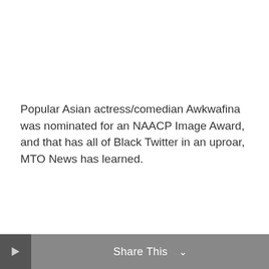Popular Asian actress/comedian Awkwafina was nominated for an NAACP Image Award, and that has all of Black Twitter in an uproar, MTO News has learned.
Share This ∨